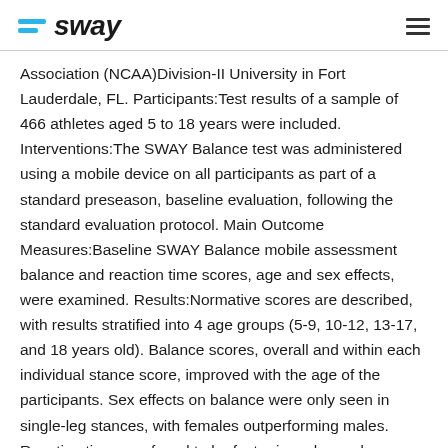sway
Association (NCAA)Division-II University in Fort Lauderdale, FL. Participants:Test results of a sample of 466 athletes aged 5 to 18 years were included. Interventions:The SWAY Balance test was administered using a mobile device on all participants as part of a standard preseason, baseline evaluation, following the standard evaluation protocol. Main Outcome Measures:Baseline SWAY Balance mobile assessment balance and reaction time scores, age and sex effects, were examined. Results:Normative scores are described, with results stratified into 4 age groups (5-9, 10-12, 13-17, and 18 years old). Balance scores, overall and within each individual stance score, improved with the age of the participants. Sex effects on balance were only seen in single-leg stances, with females outperforming males. Reaction time was found to be faster in males and improved with age, peaking at 13 to 17 years old